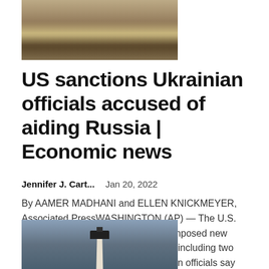[Figure (photo): Photo showing people in what appears to be an official room with yellow/gold curtains and a reflective floor]
US sanctions Ukrainian officials accused of aiding Russia | Economic news
Jennifer J. Cart...    Jan 20, 2022
By AAMER MADHANI and ELLEN KNICKMEYER, Associated PressWASHINGTON (AP) — The U.S. Treasury Department on Thursday imposed new sanctions on four Ukrainian officials, including two current lawmakers who administration officials say are part...
[Figure (photo): Photo of a lighthouse against a grey-blue sky]